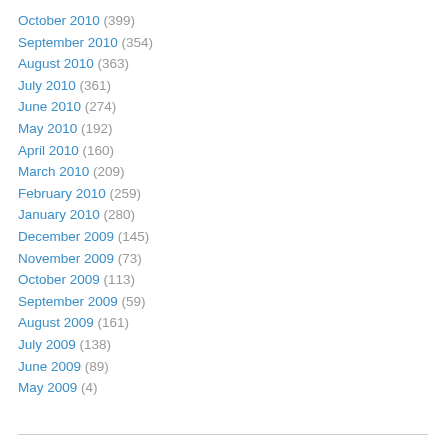October 2010 (399)
September 2010 (354)
August 2010 (363)
July 2010 (361)
June 2010 (274)
May 2010 (192)
April 2010 (160)
March 2010 (209)
February 2010 (259)
January 2010 (280)
December 2009 (145)
November 2009 (73)
October 2009 (113)
September 2009 (59)
August 2009 (161)
July 2009 (138)
June 2009 (89)
May 2009 (4)